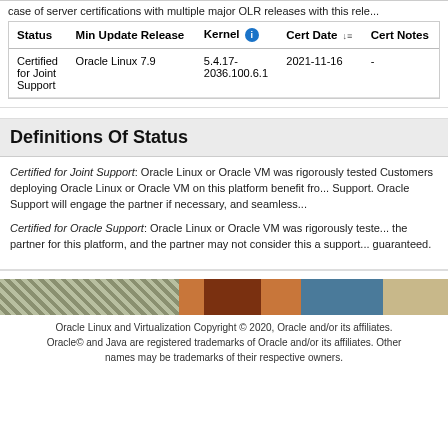case of server certifications with multiple major OLR releases with this rele...
| Status | Min Update Release | Kernel | Cert Date | Cert Notes |
| --- | --- | --- | --- | --- |
| Certified for Joint Support | Oracle Linux 7.9 | 5.4.17-2036.100.6.1 | 2021-11-16 | - |
Definitions Of Status
Certified for Joint Support: Oracle Linux or Oracle VM was rigorously tested ... Customers deploying Oracle Linux or Oracle VM on this platform benefit from... Support. Oracle Support will engage the partner if necessary, and seamless...
Certified for Oracle Support: Oracle Linux or Oracle VM was rigorously teste... the partner for this platform, and the partner may not consider this a support... guaranteed.
[Figure (illustration): Decorative banner image with multiple colored segments: olive/zebra-stripe pattern, orange, dark brown, teal/blue, and tan/beige.]
Oracle Linux and Virtualization Copyright © 2020, Oracle and/or its affiliates. Oracle© and Java are registered trademarks of Oracle and/or its affiliates. Other names may be trademarks of their respective owners.